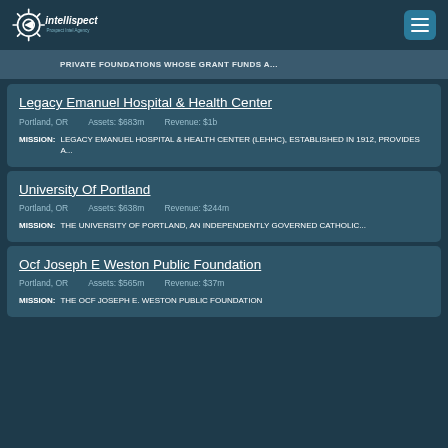intellispect
PRIVATE FOUNDATIONS WHOSE GRANT FUNDS A...
Legacy Emanuel Hospital & Health Center
Portland, OR   Assets: $683m   Revenue: $1b
MISSION: LEGACY EMANUEL HOSPITAL & HEALTH CENTER (LEHHC), ESTABLISHED IN 1912, PROVIDES A...
University Of Portland
Portland, OR   Assets: $638m   Revenue: $244m
MISSION: THE UNIVERSITY OF PORTLAND, AN INDEPENDENTLY GOVERNED CATHOLIC...
Ocf Joseph E Weston Public Foundation
Portland, OR   Assets: $565m   Revenue: $37m
MISSION: THE OCF JOSEPH E. WESTON PUBLIC FOUNDATION...